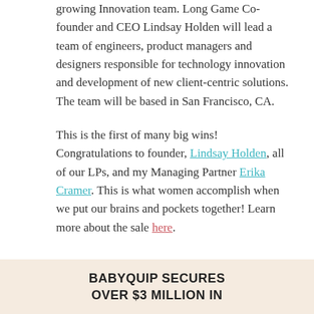growing Innovation team. Long Game Co-founder and CEO Lindsay Holden will lead a team of engineers, product managers and designers responsible for technology innovation and development of new client-centric solutions. The team will be based in San Francisco, CA.
This is the first of many big wins! Congratulations to founder, Lindsay Holden, all of our LPs, and my Managing Partner Erika Cramer. This is what women accomplish when we put our brains and pockets together! Learn more about the sale here.
BABYQUIP SECURES OVER $3 MILLION IN